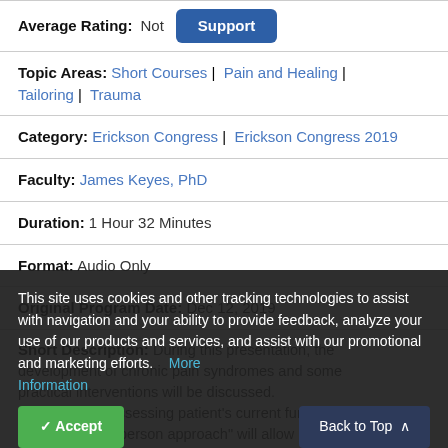Average Rating: Not [Support button]
Topic Areas: Short Courses | Pain and Healing | Tailoring | Trauma
Category: Erickson Congress | Erickson Congress 2019
Faculty: James Keyes, PhD
Duration: 1 Hour 32 Minutes
Format: Audio Only
Original Program Date: Dec 12, 2019
Short Description: During this presentation, the development of chronic pain syndromes and some practical interventions will be discussed. Specifically, assessing patient's current functioning within a "whole-person approach" will allow clinicians better information about when to work with change. While using the "evidence-based treatment" as a starting point, finding
This site uses cookies and other tracking technologies to assist with navigation and your ability to provide feedback, analyze your use of our products and services, and assist with our promotional and marketing efforts.  More Information
Accept
Back to Top